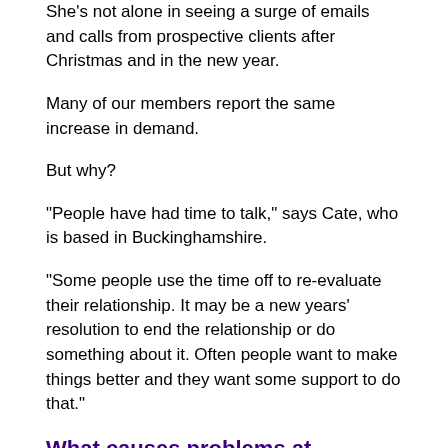She's not alone in seeing a surge of emails and calls from prospective clients after Christmas and in the new year.
Many of our members report the same increase in demand.
But why?
"People have had time to talk," says Cate, who is based in Buckinghamshire.
"Some people use the time off to re-evaluate their relationship. It may be a new years' resolution to end the relationship or do something about it. Often people want to make things better and they want some support to do that."
What causes problems at Christmas?